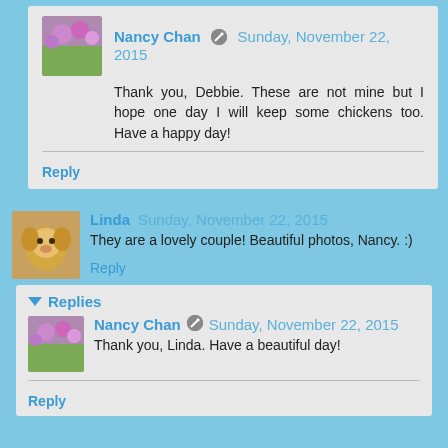Nancy Chan · Sunday, November 22, 2015
Thank you, Debbie. These are not mine but I hope one day I will keep some chickens too. Have a happy day!
Reply
Linda Sunday, November 22, 2015
They are a lovely couple! Beautiful photos, Nancy. :)
Reply
▾ Replies
Nancy Chan · Sunday, November 22, 2015
Thank you, Linda. Have a beautiful day!
Reply